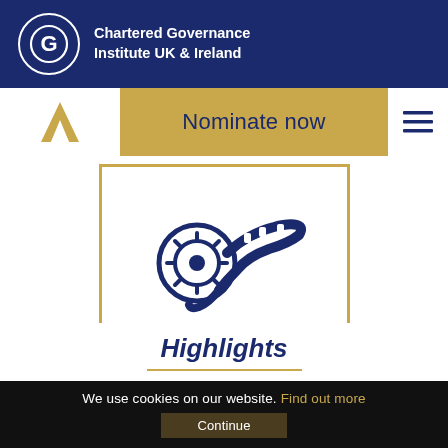Chartered Governance Institute UK & Ireland
Nominate now
[Figure (logo): Film reel icon in navy blue with ribbon/strip, inside a gold-bordered square box]
Highlights
We use cookies on our website. Find out more
Continue